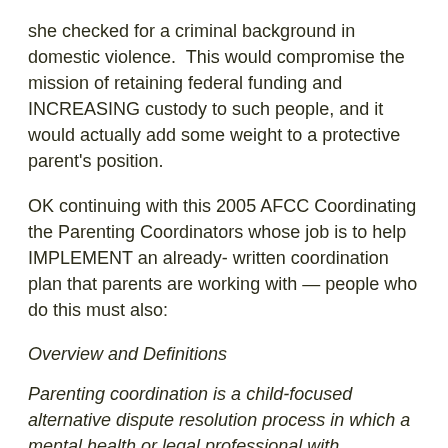she checked for a criminal background in domestic violence.  This would compromise the mission of retaining federal funding and INCREASING custody to such people, and it would actually add some weight to a protective parent's position.
OK continuing with this 2005 AFCC Coordinating the Parenting Coordinators whose job is to help IMPLEMENT an already- written coordination plan that parents are working with — people who do this must also:
Overview and Definitions
Parenting coordination is a child-focused alternative dispute resolution process in which a mental health or legal professional with mediation training and experience assists high conflict parents to implement their